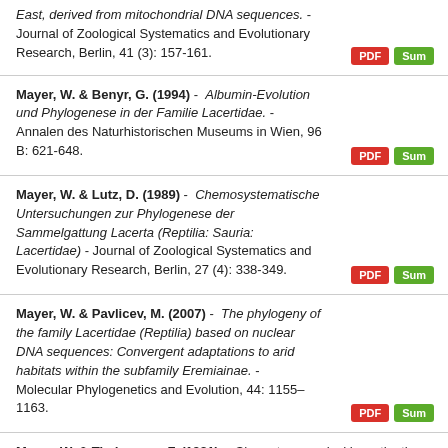East, derived from mitochondrial DNA sequences. - Journal of Zoological Systematics and Evolutionary Research, Berlin, 41 (3): 157-161.
Mayer, W. & Benyr, G. (1994) - Albumin-Evolution und Phylogenese in der Familie Lacertidae. - Annalen des Naturhistorischen Museums in Wien, 96 B: 621-648.
Mayer, W. & Lutz, D. (1989) - Chemosystematische Untersuchungen zur Phylogenese der Sammelgattung Lacerta (Reptilia: Sauria: Lacertidae) - Journal of Zoological Systematics and Evolutionary Research, Berlin, 27 (4): 338-349.
Mayer, W. & Pavlicev, M. (2007) - The phylogeny of the family Lacertidae (Reptilia) based on nuclear DNA sequences: Convergent adaptations to arid habitats within the subfamily Eremiainae. - Molecular Phylogenetics and Evolution, 44: 1155–1163.
Mayer, W. & Tiedemann, F. (1981) - Chemotaxonomical investigations in the collective genus Lacerta (LACERTIDAE; SAURIA) by means of protein electrophoresis. - Amphibia, Reptilia, 2 (4): 349-355.